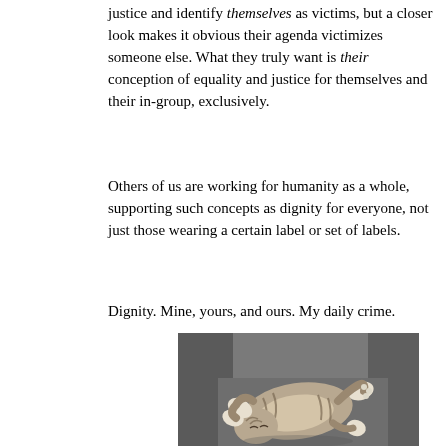...Some people wave the banner of equality and justice and identify themselves as victims, but a closer look makes it obvious their agenda victimizes someone else. What they truly want is their conception of equality and justice for themselves and their in-group, exclusively.
Others of us are working for humanity as a whole, supporting such concepts as dignity for everyone, not just those wearing a certain label or set of labels.
Dignity. Mine, yours, and ours. My daily crime.
[Figure (photo): A tabby kitten lying on its back on a grey/dark couch, with paws stretched out, appearing relaxed and sleepy.]